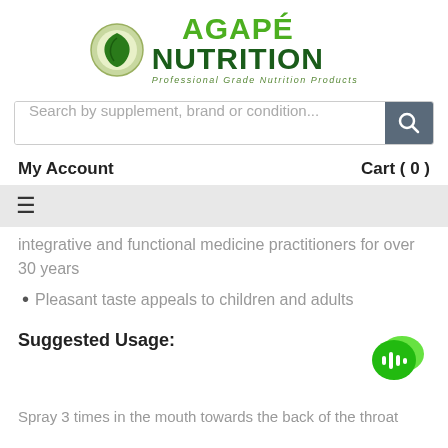[Figure (logo): Agapé Nutrition logo with green leaf icon and text 'AGAPÉ NUTRITION - Professional Grade Nutrition Products']
Search by supplement, brand or condition...
My Account
Cart ( 0 )
≡
integrative and functional medicine practitioners for over 30 years
Pleasant taste appeals to children and adults
Suggested Usage:
Spray 3 times in the mouth towards the back of the throat